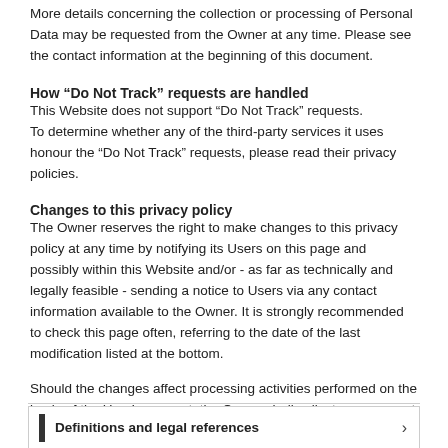More details concerning the collection or processing of Personal Data may be requested from the Owner at any time. Please see the contact information at the beginning of this document.
How “Do Not Track” requests are handled
This Website does not support “Do Not Track” requests.
To determine whether any of the third-party services it uses honour the “Do Not Track” requests, please read their privacy policies.
Changes to this privacy policy
The Owner reserves the right to make changes to this privacy policy at any time by notifying its Users on this page and possibly within this Website and/or - as far as technically and legally feasible - sending a notice to Users via any contact information available to the Owner. It is strongly recommended to check this page often, referring to the date of the last modification listed at the bottom.
Should the changes affect processing activities performed on the basis of the User’s consent, the Owner shall collect new consent from the User, where required.
Definitions and legal references